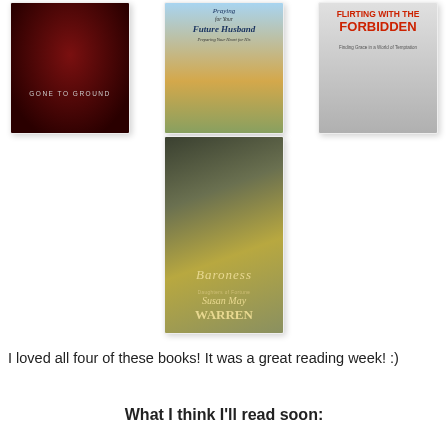[Figure (illustration): Grid of four book covers: 'Gone to Ground' (dark red/thriller), 'Praying for Your Future Husband - Preparing Your Heart for His' (Christian/blue sky), 'Flirting with the Forbidden - Finding Grace in a World of Temptation' (grey/red), and 'Baroness' by Susan May Warren (historical fiction, woman in hat/green dress)]
I loved all four of these books! It was a great reading week! :)
What I think I'll read soon: